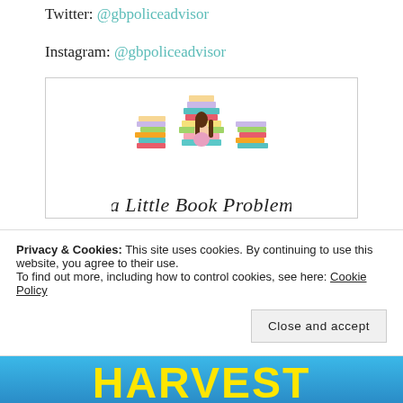Twitter: @gbpoliceadvisor
Instagram: @gbpoliceadvisor
[Figure (logo): A Little Book Problem logo: illustration of a girl surrounded by stacks of colorful books, with cursive text 'a Little Book Problem' below]
Privacy & Cookies: This site uses cookies. By continuing to use this website, you agree to their use.
To find out more, including how to control cookies, see here: Cookie Policy
Close and accept